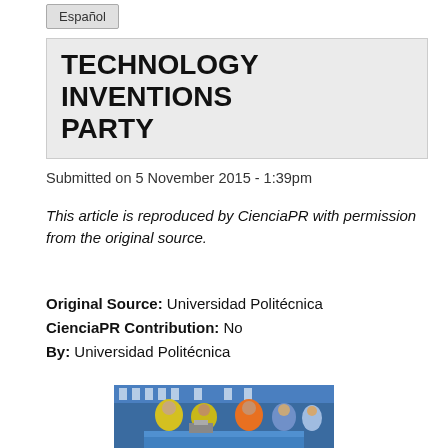Español
TECHNOLOGY INVENTIONS PARTY
Submitted on 5 November 2015 - 1:39pm
This article is reproduced by CienciaPR with permission from the original source.
Original Source: Universidad Politécnica
CienciaPR Contribution: No
By: Universidad Politécnica
[Figure (photo): Children in yellow and orange shirts working on a robotics project at a table, with a banner reading 'Universidad Politécnica' in the background.]